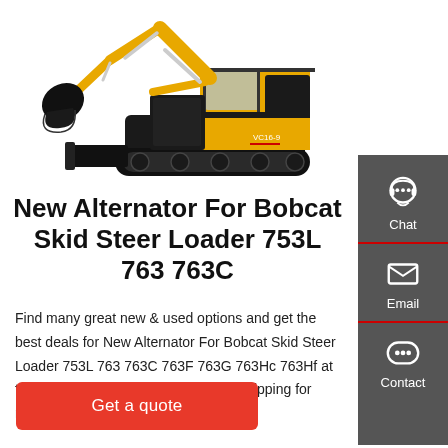[Figure (photo): Yellow and black mini excavator with bucket arm raised, tracks visible, blade at front, model VC16-9]
New Alternator For Bobcat Skid Steer Loader 753L 763 763C
Find many great new & used options and get the best deals for New Alternator For Bobcat Skid Steer Loader 753L 763 763C 763F 763G 763Hc 763Hf at the best online prices at eBay! Free shipping for many products!
[Figure (infographic): Sidebar with Chat, Email, and Contact icons on dark gray background]
Get a quote